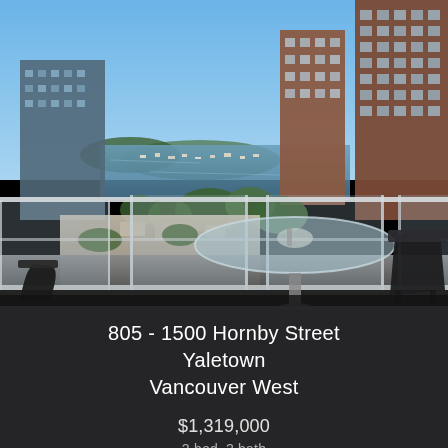[Figure (photo): Balcony view from a high-rise condo in Yaletown, Vancouver. The balcony has glass railings and features a round glass table with a dark folding chair. In the background is False Creek marina with boats, surrounded by residential high-rise buildings. Clear blue sky above.]
805 - 1500 Hornby Street
Yaletown
Vancouver West
$1,319,000
2 bed, 2 bath